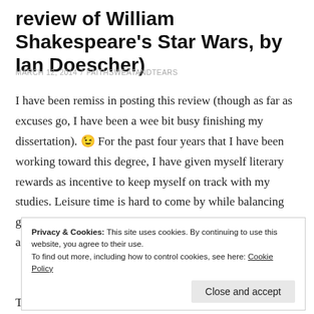review of William Shakespeare's Star Wars, by Ian Doescher)
MARCH 12, 2014 / FAITHSWEATANDTEARS
I have been remiss in posting this review (though as far as excuses go, I have been a wee bit busy finishing my dissertation). 😉 For the past four years that I have been working toward this degree, I have given myself literary rewards as incentive to keep myself on track with my studies. Leisure time is hard to come by while balancing grad school with a full-time job and parenting, much less any semblance of a social life. I love to read, so allowing
Privacy & Cookies: This site uses cookies. By continuing to use this website, you agree to their use.
To find out more, including how to control cookies, see here: Cookie Policy
Close and accept
That said, I was given the opportunity to review Ian